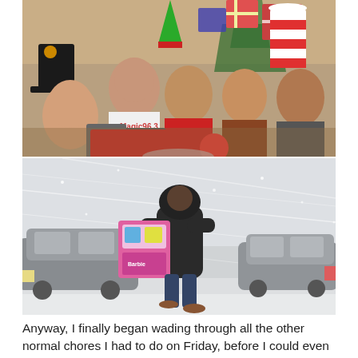[Figure (photo): Group of five people wearing festive/novelty hats (including an elf hat, striped Cat in the Hat style hats, a black top hat with flower) posing in front of Christmas decorations including wrapped gifts, ornaments, and a Christmas tree. One person wears a Magic 96.3 t-shirt. They are seated/gathered together with holiday props.]
[Figure (photo): A person in a dark hoodie and jeans walking across a snowy, blizzard-affected road carrying a large colorful toy box (appears to be a children's toy). Cars are visible on either side in the snow storm. The scene is wintry and windswept.]
Anyway, I finally began wading through all the other normal chores I had to do on Friday, before I could even